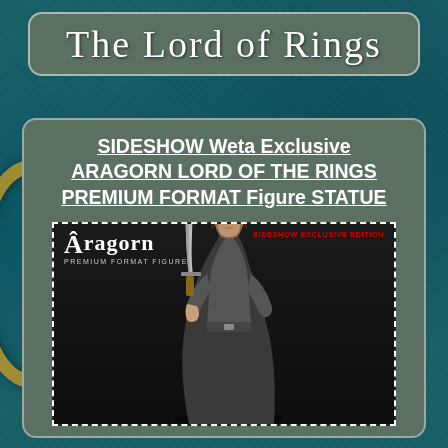The Lord of Rings
SIDESHOW Weta Exclusive ARAGORN LORD OF THE RINGS PREMIUM FORMAT Figure STATUE
[Figure (photo): Photo of Aragorn Premium Format Figure statue by Sideshow Weta Exclusive Edition. Shows the figure dressed in a dark cloak holding a sword, with the Aragorn Premium Format Figure logo and a red 'SIDESHOW EXCLUSIVE EDITION' badge in the top right corner. The image is framed with a dashed white border.]